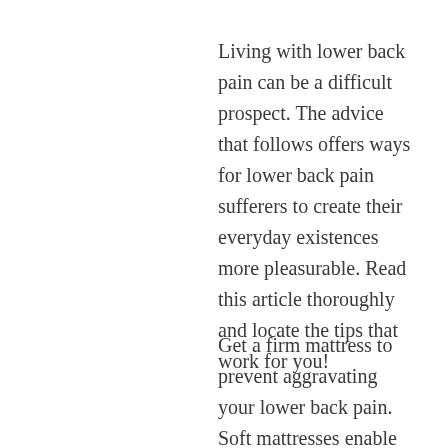Living with lower back pain can be a difficult prospect. The advice that follows offers ways for lower back pain sufferers to create their everyday existences more pleasurable. Read this article thoroughly and locate the tips that work for you!
Get a firm mattress to prevent aggravating your lower back pain. Soft mattresses enable